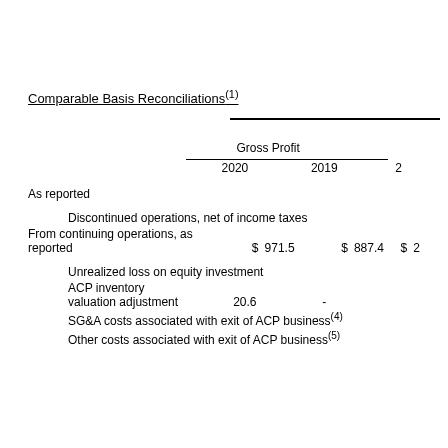Comparable Basis Reconciliations(1)
|  |  | 2020 |  | 2019 |  | 2 |
| --- | --- | --- | --- | --- | --- | --- |
| As reported |  |  |  |  |  |  |
| Discontinued operations, net of income taxes |  |  |  |  |  |  |
| From continuing operations, as reported | $ | 971.5 | $ | 887.4 | $ | 2 |
| Unrealized loss on equity investment |  |  |  |  |  |  |
| ACP inventory valuation adjustment |  | 20.6 |  | - |  |  |
| SG&A costs associated with exit of ACP business(4) |  |  |  |  |  |  |
| Other costs associated with exit of ACP business(5) |  |  |  |  |  |  |